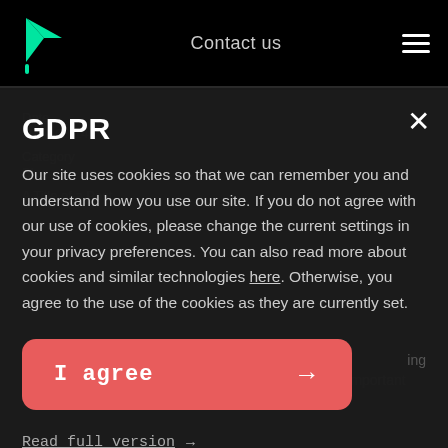Contact us
GDPR
Our site uses cookies so that we can remember you and understand how you use our site. If you do not agree with our use of cookies, please change the current settings in your privacy preferences. You can also read more about cookies and similar technologies here. Otherwise, you agree to the use of the cookies as they are currently set.
I agree →
Read full version →